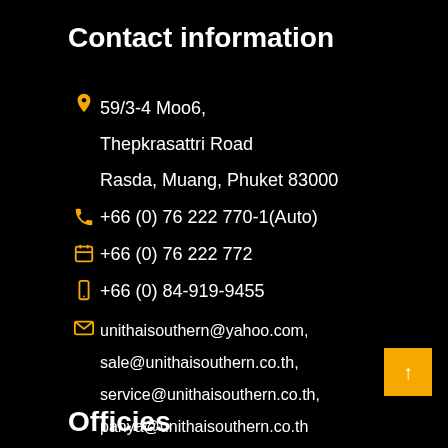Contact information
59/3-4 Moo6, Thepkrasattri Road Rasda, Muang, Phuket 83000
+66 (0) 76 222 770-1(Auto)
+66 (0) 76 222 772
+66 (0) 84-919-9455
unithaisouthern@yahoo.com, sale@unithaisouthern.co.th, service@unithaisouthern.co.th, panya@unithaisouthern.co.th
Officies